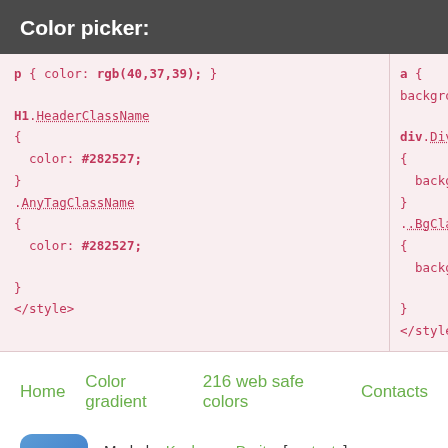Color picker:
p { color: rgb(40,37,39); }
H1.HeaderClassName
{
  color: #282527;
}
.AnyTagClassName
{
  color: #282527;
}
</style>
a { background...
div.DivClass...
{
  background...
}
.BgClassName
{
  background...
}
</style>
Home   Color gradient   216 web safe colors   Contacts
Made by Koshevoy Dmitry [contacts],
© 2014-2022 Ukraine, Mykolayiv.